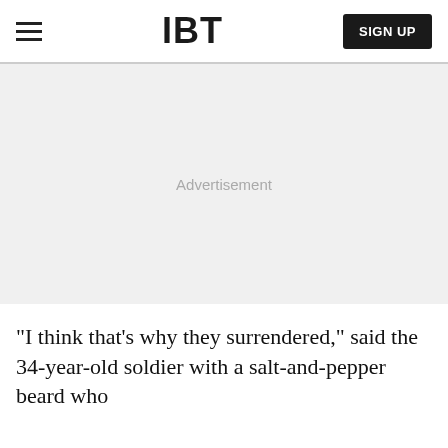IBT | SIGN UP
[Figure (other): Advertisement placeholder area with light gray background and centered 'Advertisement' text]
"I think that's why they surrendered," said the 34-year-old soldier with a salt-and-pepper beard who